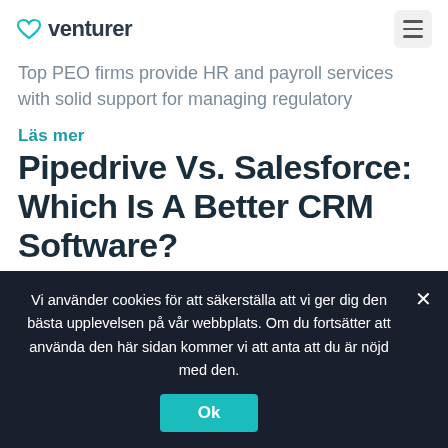venturer
Top PEO firms provide HR and payroll services with solid support for managing regulatory
Läs mer
Pipedrive Vs. Salesforce: Which Is A Better CRM Software?
JULI 22, 2022 · INGA KOMMENTARER
Many businesses are looking for the best CRM software to help manage their sales
Vi använder cookies för att säkerställa att vi ger dig den bästa upplevelsen på vår webbplats. Om du fortsätter att använda den här sidan kommer vi att anta att du är nöjd med den.